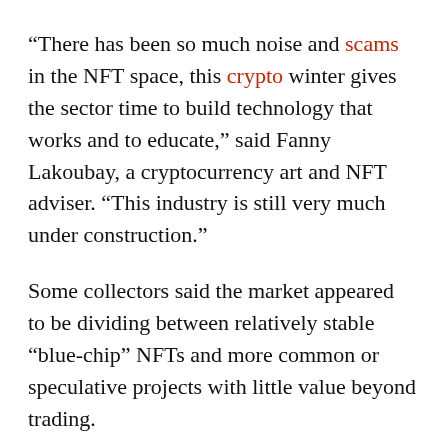“There has been so much noise and scams in the NFT space, this crypto winter gives the sector time to build technology that works and to educate,” said Fanny Lakoubay, a cryptocurrency art and NFT adviser. “This industry is still very much under construction.”
Some collectors said the market appeared to be dividing between relatively stable “blue-chip” NFTs and more common or speculative projects with little value beyond trading.
One Discord user, who calls themselves Lurmley, said they bought a Cool Cat last weekend when the average price on OpenSea had dropped from 17 ether at the end of January to less than 8 ether — worth over $20,000 today — believing that the collection would be one of the